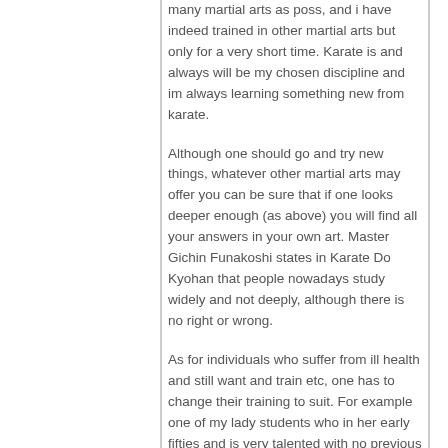many martial arts as poss, and i have indeed trained in other martial arts but only for a very short time. Karate is and always will be my chosen discipline and im always learning something new from karate.
Although one should go and try new things, whatever other martial arts may offer you can be sure that if one looks deeper enough (as above) you will find all your answers in your own art. Master Gichin Funakoshi states in Karate Do Kyohan that people nowadays study widely and not deeply, although there is no right or wrong.
As for individuals who suffer from ill health and still want and train etc, one has to change their training to suit. For example one of my lady students who in her early fifties and is very talented with no previous martial arts training has arthritis in her legs and now cant kick. So i have removed the kicks from her training and kata (which was interesting to say the least) but by doing so she can still train and enjoy karate in which she loves.